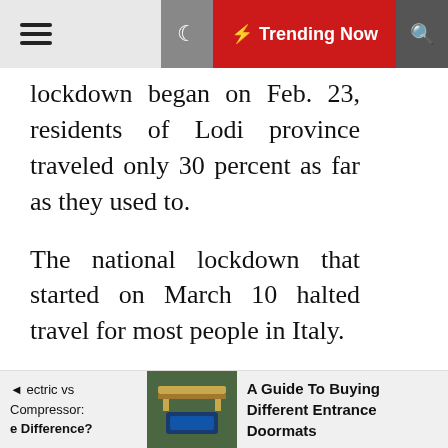≡  ☽  ⚡ Trending Now  🔍
lockdown began on Feb. 23, residents of Lodi province traveled only 30 percent as far as they used to.
The national lockdown that started on March 10 halted travel for most people in Italy.
Italians cut their travel by more than 50 percent
ectric vs Compressor: e Difference?   [image: doormats]   A Guide To Buying Different Entrance Doormats